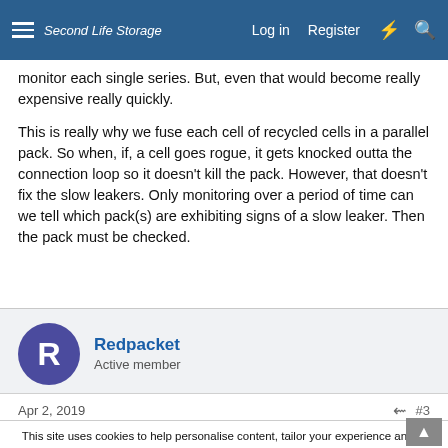Second Life Storage — Log in  Register
monitor each single series. But, even that would become really expensive really quickly.

This is really why we fuse each cell of recycled cells in a parallel pack. So when, if, a cell goes rogue, it gets knocked outta the connection loop so it doesn't kill the pack. However, that doesn't fix the slow leakers. Only monitoring over a period of time can we tell which pack(s) are exhibiting signs of a slow leaker. Then the pack must be checked.
Redpacket
Active member
Apr 2, 2019   #3
This site uses cookies to help personalise content, tailor your experience and to keep you logged in if you register.
By continuing to use this site, you are consenting to our use of cookies.